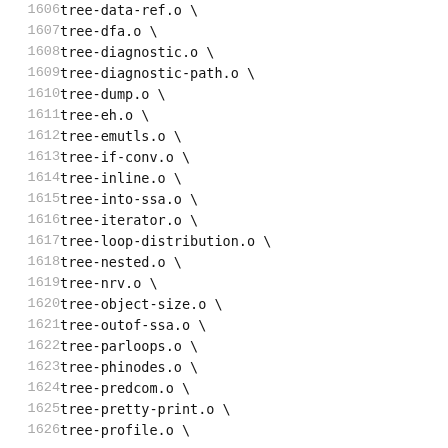1606    tree-data-ref.o \
1607    tree-dfa.o \
1608    tree-diagnostic.o \
1609    tree-diagnostic-path.o \
1610    tree-dump.o \
1611    tree-eh.o \
1612    tree-emutls.o \
1613    tree-if-conv.o \
1614    tree-inline.o \
1615    tree-into-ssa.o \
1616    tree-iterator.o \
1617    tree-loop-distribution.o \
1618    tree-nested.o \
1619    tree-nrv.o \
1620    tree-object-size.o \
1621    tree-outof-ssa.o \
1622    tree-parloops.o \
1623    tree-phinodes.o \
1624    tree-predcom.o \
1625    tree-pretty-print.o \
1626    tree-profile.o \